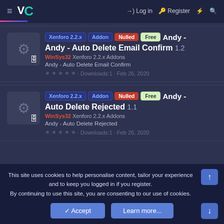≡ VC Log in Register ⚡ 🔍
Xenforo 2.2.x | Addon | Nulled | Free | Andy - Auto Delete Email Confirm 1.2 | WinSys32 Xenforo 2.2.x Addons | Andy - Auto Delete Email Confirm | ★★★★★ · Downloads:1 · Feb 26, 2020
Xenforo 2.2.x | Addon | Nulled | Free | Andy - Auto Delete Rejected 1.1 | WinSys32 Xenforo 2.2.x Addons | Andy - Auto Delete Rejected | ★★★★★ · Downloads:1 · Feb 26, 2020
This site uses cookies to help personalise content, tailor your experience and to keep you logged in if you register. By continuing to use this site, you are consenting to our use of cookies.